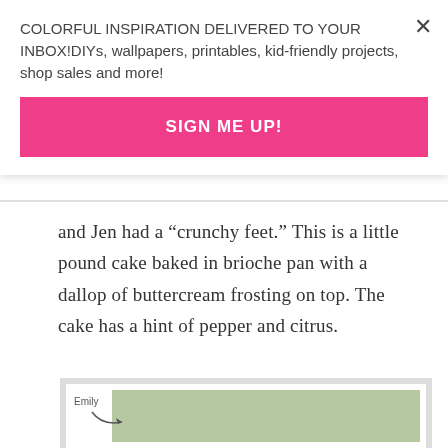COLORFUL INSPIRATION DELIVERED TO YOUR INBOX!DIYs, wallpapers, printables, kid-friendly projects, shop sales and more!
SIGN ME UP!
and Jen had a “crunchy feet.” This is a little pound cake baked in brioche pan with a dallop of buttercream frosting on top. The cake has a hint of pepper and citrus.
[Figure (photo): Two young women smiling inside a car, one in the driver seat labeled 'Emily' with a handwritten arrow pointing to her, photo shown in a white polaroid-style frame on a gray background.]